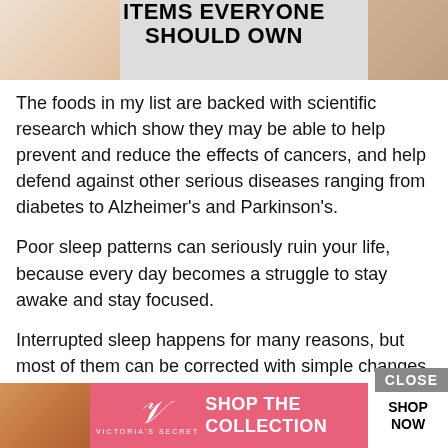[Figure (other): Top banner image with text 'ITEMS EVERYONE SHOULD OWN' and decorative photos on left and right sides]
The foods in my list are backed with scientific research which show they may be able to help prevent and reduce the effects of cancers, and help defend against other serious diseases ranging from diabetes to Alzheimer's and Parkinson's.
Poor sleep patterns can seriously ruin your life, because every day becomes a struggle to stay awake and stay focused.
Interrupted sleep happens for many reasons, but most of them can be corrected with simple changes to your diet.
There is at least one superfood in the list which is reported to rebalance your internal “sleep clock” to help you sleep like a b
[Figure (screenshot): Victoria's Secret advertisement banner with model photo, VS logo, 'SHOP THE COLLECTION' text, a 'CLOSE' button, and 'SHOP NOW' button]